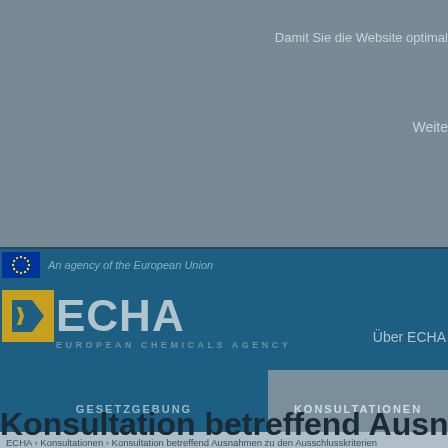Damit Sie die Website optimal
Weite
[Figure (logo): ECHA European Chemicals Agency logo with EU stars icon and text 'An agency of the European Union']
Über ECHA
GESETZGEBUNG
KONSULTATIONEN
ECHA › Konsultationen › Konsultation betreffend Ausnahmen zu den Ausschlusskriterien
Konsultation betreffend Ausnahmen